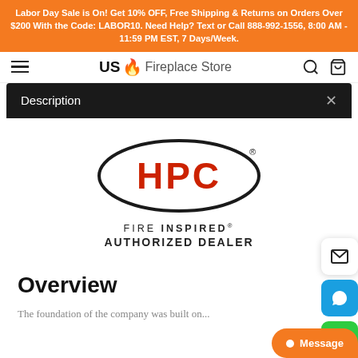Labor Day Sale is On! Get 10% OFF, Free Shipping & Returns on Orders Over $200 With the Code: LABOR10. Need Help? Text or Call 888-992-1556, 8:00 AM - 11:59 PM EST, 7 Days/Week.
US Fireplace Store
Description
[Figure (logo): HPC Fire Inspired Authorized Dealer logo — red HPC text inside black oval, with FIRE INSPIRED AUTHORIZED DEALER text below]
Overview
The foundation of the company was built on...